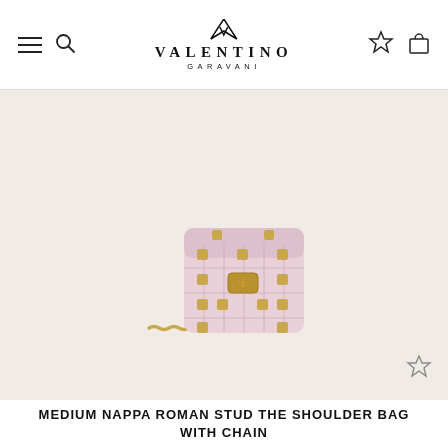VALENTINO GARAVANI
[Figure (photo): Pink Valentino Garavani Medium Nappa Roman Stud shoulder bag with gold studs and chain strap, displayed on a light beige background]
MEDIUM NAPPA ROMAN STUD THE SHOULDER BAG WITH CHAIN